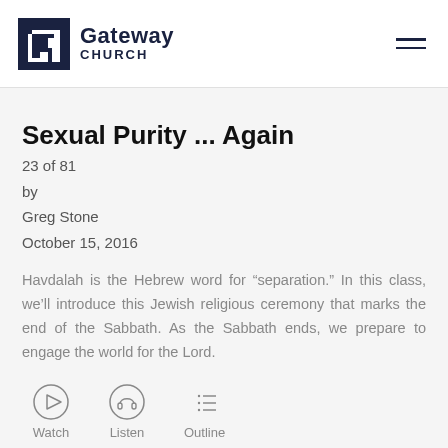Gateway CHURCH
Sexual Purity ... Again
23 of 81
by
Greg Stone
October 15, 2016
Havdalah is the Hebrew word for “separation.” In this class, we’ll introduce this Jewish religious ceremony that marks the end of the Sabbath. As the Sabbath ends, we prepare to engage the world for the Lord.
[Figure (infographic): Three action icons: Watch (play button circle), Listen (headphones circle), Outline (list icon)]
The Priest Worthy of Being Worshiped